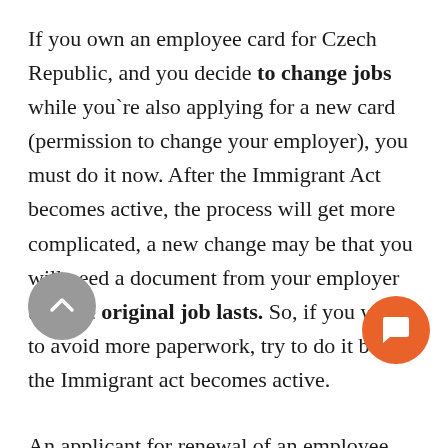If you own an employee card for Czech Republic, and you decide to change jobs while you`re also applying for a new card (permission to change your employer), you must do it now. After the Immigrant Act becomes active, the process will get more complicated, a new change may be that you will need a document from your employer that the original job lasts. So, if you wish to avoid more paperwork, try to do it before the Immigrant act becomes active.
An applicant for renewal of an employee card has an opportunity to find a new employment within days of the termination of his or her employment,